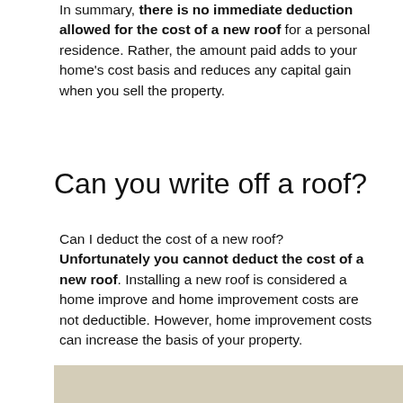In summary, there is no immediate deduction allowed for the cost of a new roof for a personal residence. Rather, the amount paid adds to your home's cost basis and reduces any capital gain when you sell the property.
Can you write off a roof?
Can I deduct the cost of a new roof? Unfortunately you cannot deduct the cost of a new roof. Installing a new roof is considered a home improve and home improvement costs are not deductible. However, home improvement costs can increase the basis of your property.
[Figure (photo): Partial view of a roof or building material, beige/tan colored, cropped at bottom of page.]